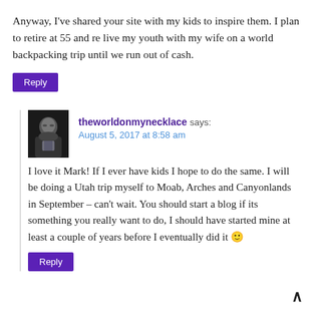Anyway, I've shared your site with my kids to inspire them. I plan to retire at 55 and re live my youth with my wife on a world backpacking trip until we run out of cash.
Reply
[Figure (photo): Avatar photo of theworldonmynecklace, a woman with glasses]
theworldonmynecklace says: August 5, 2017 at 8:58 am
I love it Mark! If I ever have kids I hope to do the same. I will be doing a Utah trip myself to Moab, Arches and Canyonlands in September – can't wait. You should start a blog if its something you really want to do, I should have started mine at least a couple of years before I eventually did it 🙂
Reply